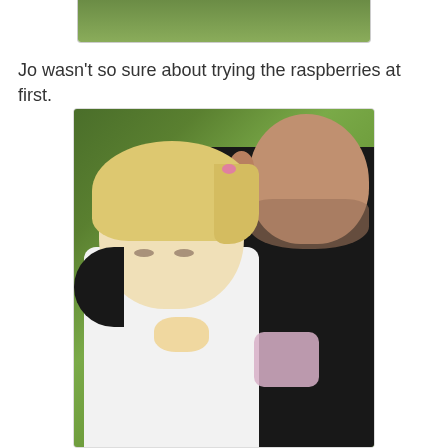[Figure (photo): Partial view of a photo showing green foliage/bushes, cropped at bottom of previous image]
Jo wasn't so sure about trying the raspberries at first.
[Figure (photo): A blonde toddler girl in a white dress being held by a man in a dark shirt, outdoors with green leafy background. The girl looks down with a serious/uncertain expression and has a pink hair clip.]